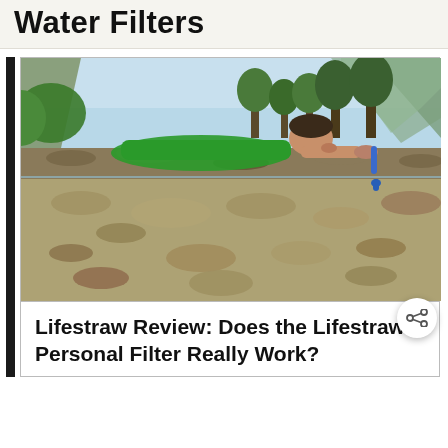Water Filters
[Figure (photo): Person in green jacket lying on rocks, drinking directly from a clear stream using a LifeStraw personal water filter. The photo is split-level showing above and below the water surface, with mountains and trees in the background.]
Lifestraw Review: Does the Lifestraw Personal Filter Really Work?